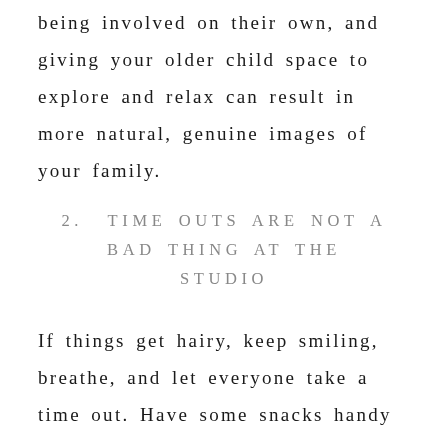being involved on their own, and giving your older child space to explore and relax can result in more natural, genuine images of your family.
2. TIME OUTS ARE NOT A BAD THING AT THE STUDIO
If things get hairy, keep smiling, breathe, and let everyone take a time out. Have some snacks handy